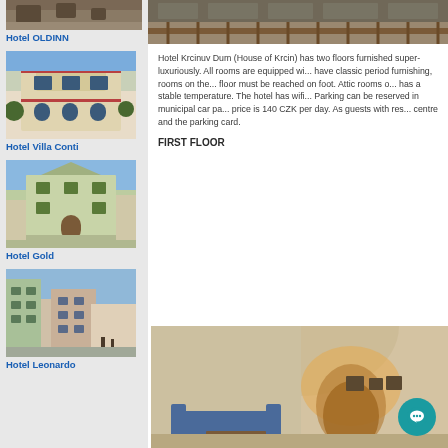[Figure (photo): Partial photo of hotel exterior at top of left sidebar]
Hotel OLDINN
[Figure (photo): Photo of Hotel Villa Conti exterior - colorful building with arched windows]
Hotel Villa Conti
[Figure (photo): Photo of Hotel Gold exterior - green historic building]
Hotel Gold
[Figure (photo): Photo of Hotel Leonardo exterior - multi-story building in town center]
Hotel Leonardo
[Figure (photo): Top banner photo of hotel exterior terrace/courtyard]
Hotel Krcinuv Dum (House of Krcin) has two floors furnished super-luxuriously. All rooms are equipped with... have classic period furnishing, rooms on the... floor must be reached on foot. Attic rooms o... has a stable temperature. The hotel has wifi... Parking can be reserved in municipal car pa... price is 140 CZK per day. As guests with res... centre and the parking card.
FIRST FLOOR
[Figure (photo): Interior photo of hotel room/lounge with vaulted ceiling and blue sofas]